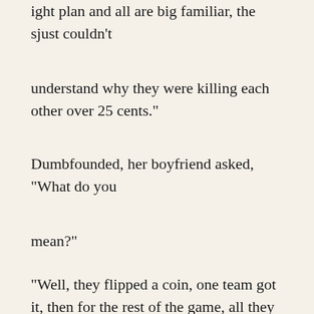ight plan and all are big familiar, the sjust couldn't
understand why they were killing each other over 25 cents."
Dumbfounded, her boyfriend asked, "What do you
mean?"
"Well, they flipped a coin, one team got it, then for the rest of the game, all they kept screaming was...